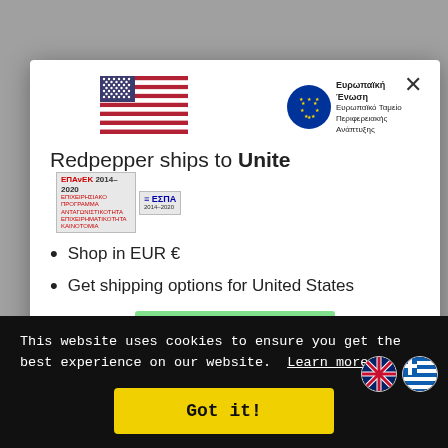[Figure (screenshot): Modal dialog showing US flag and EU logos at top, with text 'Redpepper ships to Unite' and bullet list about EUR shopping and US shipping options]
Redpepper ships to Unite
Shop in EUR €
Get shipping options for United States
Shop now
Change shipping country
This website uses cookies to ensure you get the best experience on our website.  Learn more
Got it!